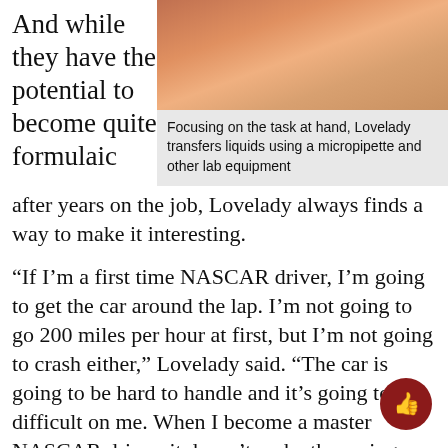And while they have the potential to become quite formulaic
[Figure (photo): Close-up photo of hands using a micropipette in a lab setting, with orange/red colored materials visible]
Focusing on the task at hand, Lovelady transfers liquids using a micropipette and other lab equipment
after years on the job, Lovelady always finds a way to make it interesting.
“If I’m a first time NASCAR driver, I’m going to get the car around the lap. I’m not going to go 200 miles per hour at first, but I’m not going to crash either,” Lovelady said. “The car is going to be hard to handle and it’s going to be difficult on me. When I become a master NASCAR driver, it doesn’t make the racing any easier because I’m pushing the limit a lot more.”
The generational changes among students and